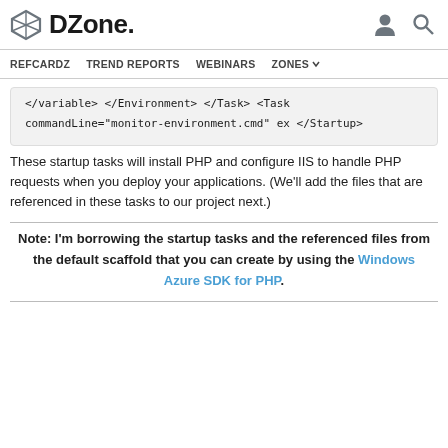DZone. REFCARDZ  TREND REPORTS  WEBINARS  ZONES
[Figure (screenshot): Code snippet showing XML closing tags: </variable>, </Environment>, </Task>, <Task commandLine="monitor-environment.cmd" ex, </Startup>]
These startup tasks will install PHP and configure IIS to handle PHP requests when you deploy your applications. (We'll add the files that are referenced in these tasks to our project next.)
Note: I'm borrowing the startup tasks and the referenced files from the default scaffold that you can create by using the Windows Azure SDK for PHP.